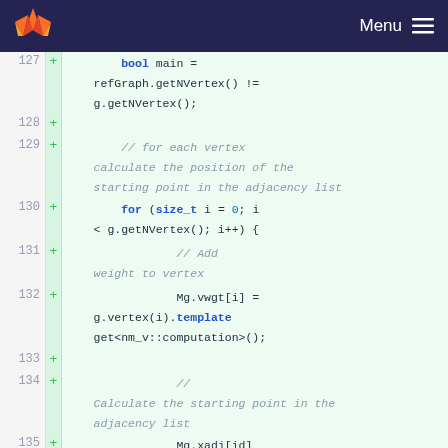Menu
[Figure (screenshot): GitLab code diff viewer showing lines 127-135 of a C++ source file with added lines (marked with +). Code includes: bool main = refGraph.getNVertex() != g.getNVertex(); a for loop over vertices; Mg.vwgt[i] assignment; and Mg.xadj[id] = prev;]